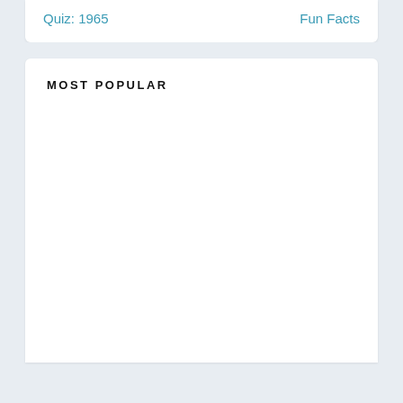Quiz: 1965    Fun Facts
MOST POPULAR